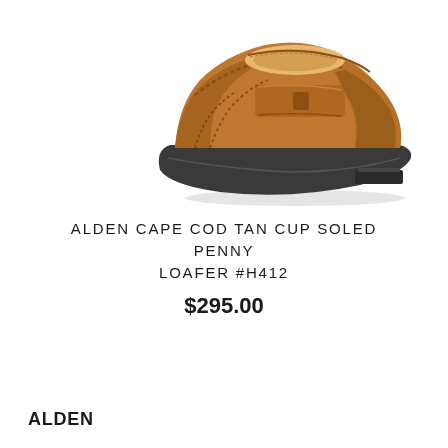[Figure (photo): A tan/cognac leather penny loafer shoe (Alden Cape Cod Tan Cup Soled Penny Loafer #H412) photographed from above-side angle against a white background. The shoe has a classic moccasin-toe construction with a penny strap, dark rubber cup sole, and tan leather lining visible at the top opening.]
ALDEN CAPE COD TAN CUP SOLED PENNY LOAFER #H412
$295.00
ALDEN